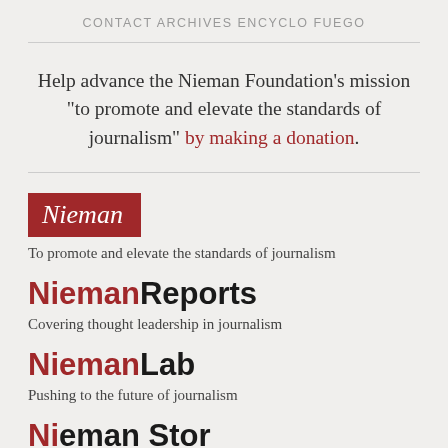CONTACT   ARCHIVES   ENCYCLO   FUEGO
Help advance the Nieman Foundation’s mission “to promote and elevate the standards of journalism” by making a donation.
[Figure (logo): Nieman badge logo in red background with white italic text]
To promote and elevate the standards of journalism
NiemanReports
Covering thought leadership in journalism
NiemanLab
Pushing to the future of journalism
Nieman Storyboard (partial)